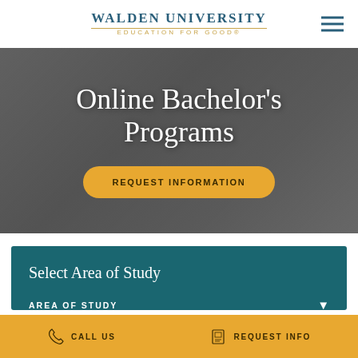Walden University — Education for Good®
Online Bachelor's Programs
REQUEST INFORMATION
Select Area of Study
AREA OF STUDY
CALL US   REQUEST INFO